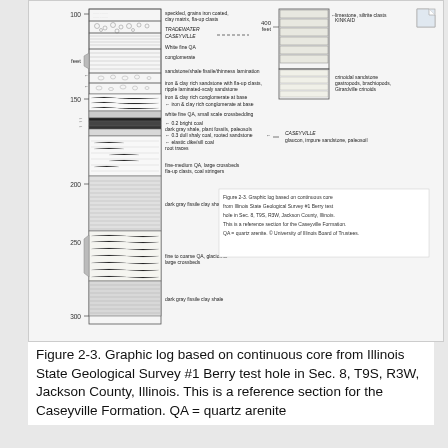[Figure (engineering-diagram): Graphic log (stratigraphic column) based on continuous core from Illinois State Geological Survey #1 Berry test hole in Sec. 8, T9S, R3W, Jackson County, Illinois. Shows lithology column with depth markers at 100, 150, 200, 250, 300 feet. Left column shows detailed sedimentary structures and rock types including conglomerate, sandstone/shale, iron & clay rich sandstone, coal seams, and dark gray fissile clay shale. Right column shows a comparison section with limestone, crinoidal sandstone, and location marker for Caseyville Formation. Various annotations label rock types and features.]
Figure 2-3. Graphic log based on continuous core from Illinois State Geological Survey #1 Berry test hole in Sec. 8, T9S, R3W, Jackson County, Illinois. This is a reference section for the Caseyville Formation. QA = quartz arenite